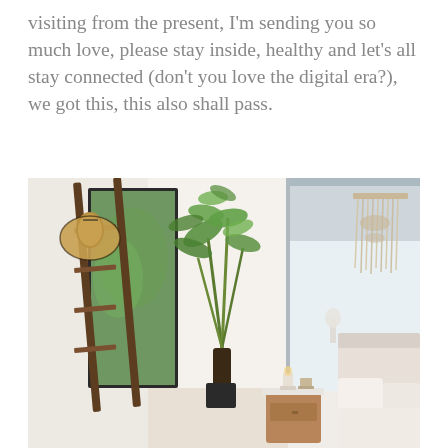visiting from the present, I'm sending you so much love, please stay inside, healthy and let's all stay connected (don't you love the digital era?), we got this, this also shall pass.
[Figure (photo): A bright, minimalist bedroom interior with white walls. On the left, a wooden ladder leans against the wall with a straw hat hanging from it and a large mirror reflecting greenery outside. A tall indoor plant (bamboo-like) stands near a window with a white roller shade partially drawn. On the right side, a macrame wall hanging decorates the wall above a bed with white linens and beige pillow. A small wooden nightstand holds a candle and small decor items.]